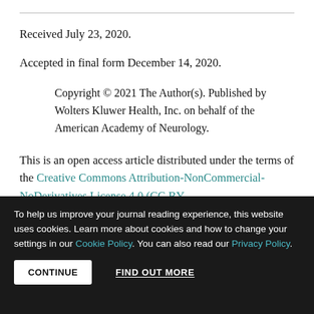Received July 23, 2020.
Accepted in final form December 14, 2020.
Copyright © 2021 The Author(s). Published by Wolters Kluwer Health, Inc. on behalf of the American Academy of Neurology.
This is an open access article distributed under the terms of the Creative Commons Attribution-NonCommercial-NoDerivatives License 4.0 (CC BY-
To help us improve your journal reading experience, this website uses cookies. Learn more about cookies and how to change your settings in our Cookie Policy. You can also read our Privacy Policy.
CONTINUE   FIND OUT MORE